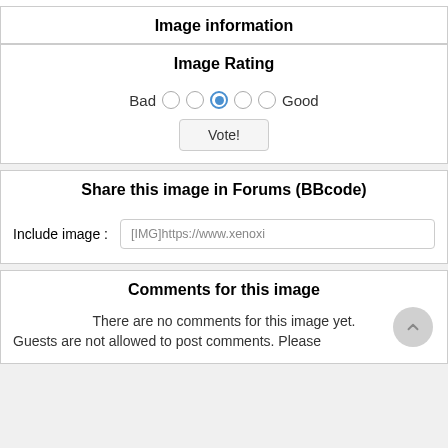Image information
Image Rating
[Figure (other): Rating widget with 5 radio buttons between Bad and Good labels, middle button selected (blue), and a Vote! button below]
Share this image in Forums (BBcode)
Include image :
[IMG]https://www.xenoxi
Comments for this image
There are no comments for this image yet.
Guests are not allowed to post comments. Please